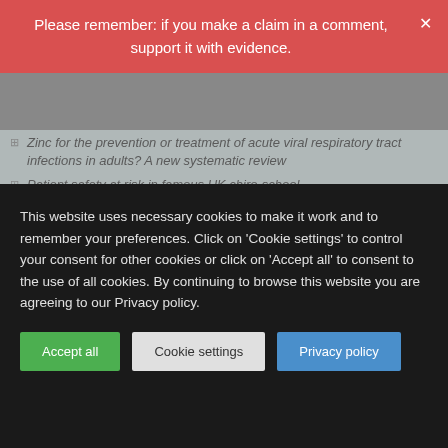Please remember: if you make a claim in a comment, support it with evidence.
Zinc for the prevention or treatment of acute viral respiratory tract infections in adults? A new systematic review
Patient safety at risk in famous UK chiro-school
Recent Comments
Note that comments can be edited for up to five minutes after they are first submitted but you must tick the box: “Save my name, email, and website in this browser for the next time I comment.”
The most recent comments from all posts can be seen here.
Fabio on Effects of “Placebo Injections” in Knee Osteoarthritis
This website uses necessary cookies to make it work and to remember your preferences. Click on 'Cookie settings' to control your consent for other cookies or click on 'Accept all' to consent to the use of all cookies. By continuing to browse this website you are agreeing to our Privacy policy.